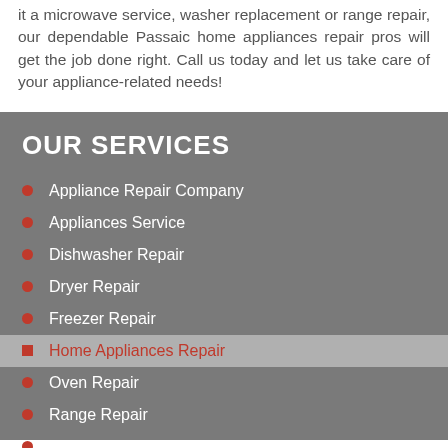it a microwave service, washer replacement or range repair, our dependable Passaic home appliances repair pros will get the job done right. Call us today and let us take care of your appliance-related needs!
OUR SERVICES
Appliance Repair Company
Appliances Service
Dishwasher Repair
Dryer Repair
Freezer Repair
Home Appliances Repair
Oven Repair
Range Repair
Refrigerator Repair
Washing Machine Repair